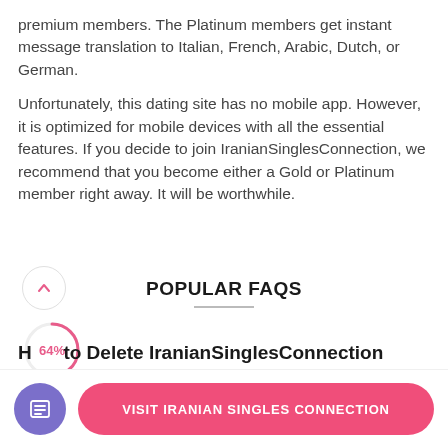premium members. The Platinum members get instant message translation to Italian, French, Arabic, Dutch, or German.
Unfortunately, this dating site has no mobile app. However, it is optimized for mobile devices with all the essential features. If you decide to join IranianSinglesConnection, we recommend that you become either a Gold or Platinum member right away. It will be worthwhile.
POPULAR FAQS
How to Delete IranianSinglesConnection Account?
VISIT IRANIAN SINGLES CONNECTION